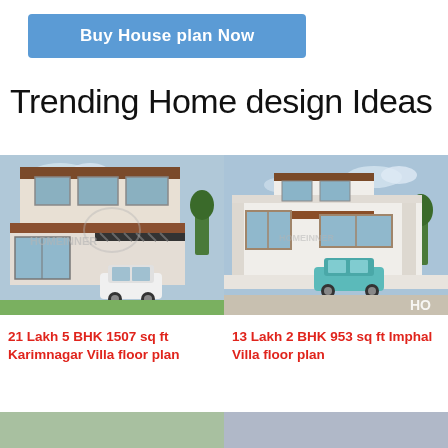Buy House plan Now
Trending Home design Ideas
[Figure (photo): Architectural rendering of a modern two-story villa with white and wood exterior, carport with a white car, watermarked with 'HOMEINNER']
[Figure (photo): Architectural rendering of a single-story modern white villa with wood accents, teal/blue car in driveway, watermarked with 'HOMEINNER' or 'HO']
21 Lakh 5 BHK 1507 sq ft Karimnagar Villa floor plan
13 Lakh 2 BHK 953 sq ft Imphal Villa floor plan